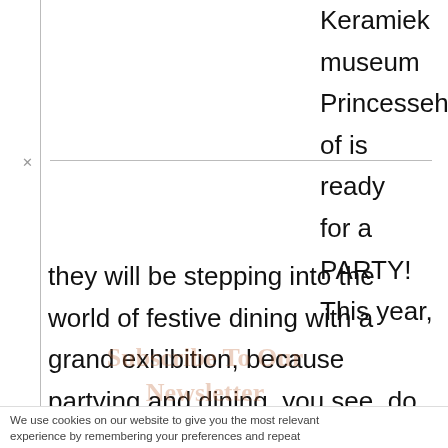Keramiek museum Princessehof is ready for a PARTY! This year, they will be stepping into the world of festive dining with a grand exhibition, because partying and dining, you see, do go hand in hand. We all enjoy a great PARTY, be it a Wedding, Birthday or
We use cookies on our website to give you the most relevant experience by remembering your preferences and repeat